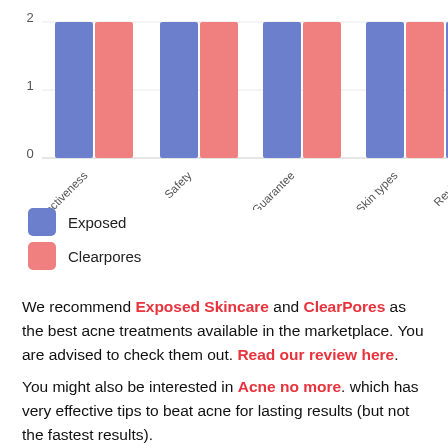[Figure (grouped-bar-chart): ]
We recommend Exposed Skincare and ClearPores as the best acne treatments available in the marketplace. You are advised to check them out. Read our review here.
You might also be interested in Acne no more. which has very effective tips to beat acne for lasting results (but not the fastest results).